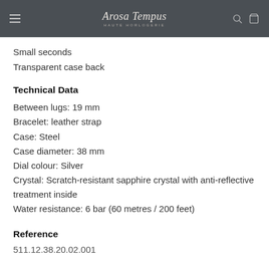Arosa Tempus HAUTE HORLOGERIE
Small seconds
Transparent case back
Technical Data
Between lugs: 19 mm
Bracelet: leather strap
Case: Steel
Case diameter: 38 mm
Dial colour: Silver
Crystal: Scratch-resistant sapphire crystal with anti-reflective treatment inside
Water resistance: 6 bar (60 metres / 200 feet)
Reference
511.12.38.20.02.001